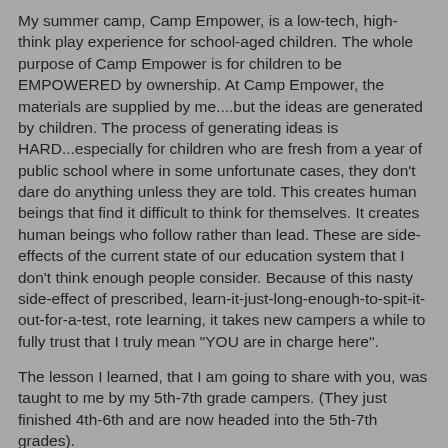My summer camp, Camp Empower, is a low-tech, high-think play experience for school-aged children. The whole purpose of Camp Empower is for children to be EMPOWERED by ownership. At Camp Empower, the materials are supplied by me....but the ideas are generated by children. The process of generating ideas is HARD...especially for children who are fresh from a year of public school where in some unfortunate cases, they don't dare do anything unless they are told. This creates human beings that find it difficult to think for themselves. It creates human beings who follow rather than lead. These are side-effects of the current state of our education system that I don't think enough people consider. Because of this nasty side-effect of prescribed, learn-it-just-long-enough-to-spit-it-out-for-a-test, rote learning, it takes new campers a while to fully trust that I truly mean "YOU are in charge here".
The lesson I learned, that I am going to share with you, was taught to me by my 5th-7th grade campers. (They just finished 4th-6th and are now headed into the 5th-7th grades).